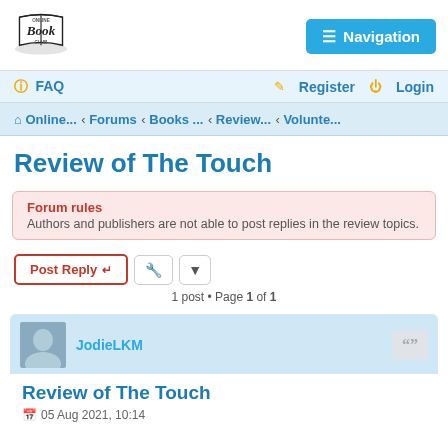[Figure (logo): Online Book Club logo with stylized book graphic]
Navigation
FAQ   Register   Login
Online... < Forums < Books ... < Review... < Volunte...
Review of The Touch
Forum rules
Authors and publishers are not able to post replies in the review topics.
Post Reply   [tool icons]
1 post • Page 1 of 1
JodieLKM
Review of The Touch
05 Aug 2021, 10:14